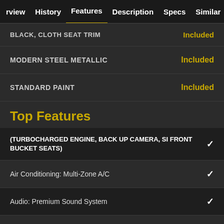rview  History  Features  Description  Specs  Similar
BLACK, CLOTH SEAT TRIM — Included
MODERN STEEL METALLIC — Included
STANDARD PAINT — Included
Top Features
(TURBOCHARGED ENGINE, BACK UP CAMERA, SI FRONT BUCKET SEATS) ✓
Air Conditioning: Multi-Zone A/C ✓
Audio: Premium Sound System ✓